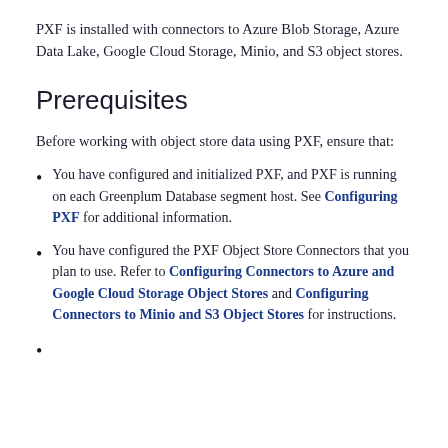PXF is installed with connectors to Azure Blob Storage, Azure Data Lake, Google Cloud Storage, Minio, and S3 object stores.
Prerequisites
Before working with object store data using PXF, ensure that:
You have configured and initialized PXF, and PXF is running on each Greenplum Database segment host. See Configuring PXF for additional information.
You have configured the PXF Object Store Connectors that you plan to use. Refer to Configuring Connectors to Azure and Google Cloud Storage Object Stores and Configuring Connectors to Minio and S3 Object Stores for instructions.
The next item continues below...